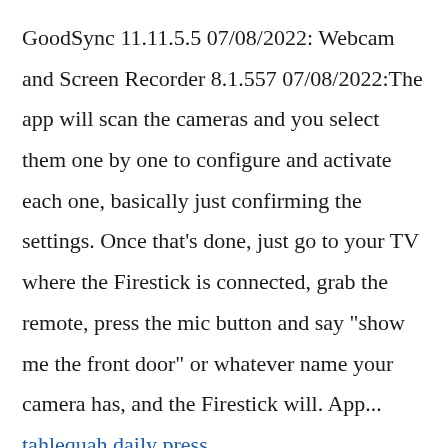GoodSync 11.11.5.5 07/08/2022: Webcam and Screen Recorder 8.1.557 07/08/2022:The app will scan the cameras and you select them one by one to configure and activate each one, basically just confirming the settings. Once that's done, just go to your TV where the Firestick is connected, grab the remote, press the mic button and say "show me the front door" or whatever name your camera has, and the Firestick will. App... tahlequah daily press